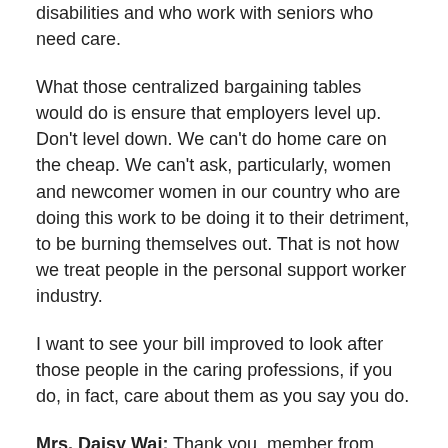disabilities and who work with seniors who need care.
What those centralized bargaining tables would do is ensure that employers level up. Don't level down. We can't do home care on the cheap. We can't ask, particularly, women and newcomer women in our country who are doing this work to be doing it to their detriment, to be burning themselves out. That is not how we treat people in the personal support worker industry.
I want to see your bill improved to look after those people in the caring professions, if you do, in fact, care about them as you say you do.
Mrs. Daisy Wai: Thank you, member from Ottawa Centre. Please see that today we're discussing the bill the Connecting People to Home and Community Care Act. The PSWs are part of the group of the whole health care system that we work with. We are going to make sure that we connect them all together so that we give the best